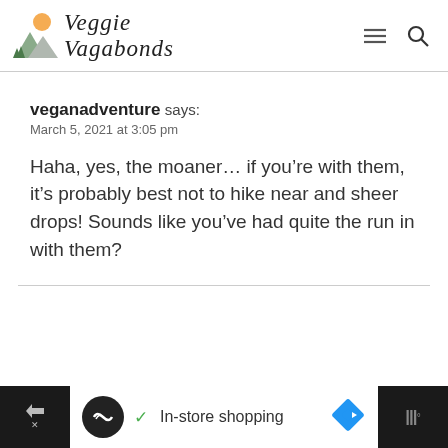Veggie Vagabonds
veganadventure says:
March 5, 2021 at 3:05 pm
Haha, yes, the moaner… if you’re with them, it’s probably best not to hike near and sheer drops! Sounds like you’ve had quite the run in with them?
[Figure (screenshot): Advertisement bar at the bottom showing In-store shopping with logos]